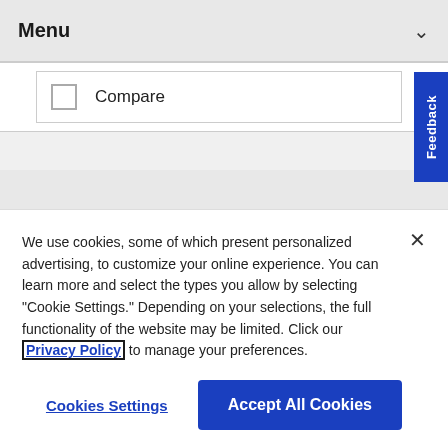Menu
Compare
[Figure (screenshot): Feedback vertical tab on right side]
[Figure (screenshot): Need vertical tab on right side]
[Figure (screenshot): Blue circle button partially visible]
We use cookies, some of which present personalized advertising, to customize your online experience. You can learn more and select the types you allow by selecting "Cookie Settings." Depending on your selections, the full functionality of the website may be limited. Click our Privacy Policy to manage your preferences.
Cookies Settings
Accept All Cookies